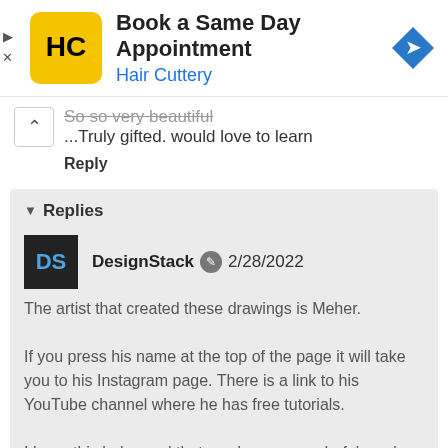[Figure (screenshot): Hair Cuttery advertisement banner with logo, 'Book a Same Day Appointment' headline, and blue navigation arrow icon. Ad controls (play/close) visible on left.]
So so very beautiful
...Truly gifted. would love to learn
Reply
Replies
DesignStack 2/28/2022
The artist that created these drawings is Meher.

If you press his name at the top of the page it will take you to his Instagram page. There is a link to his YouTube channel where he has free tutorials.

I hope this helps and that you have a wonderful week ahead. 🙏🙏🙏 DS
Reply